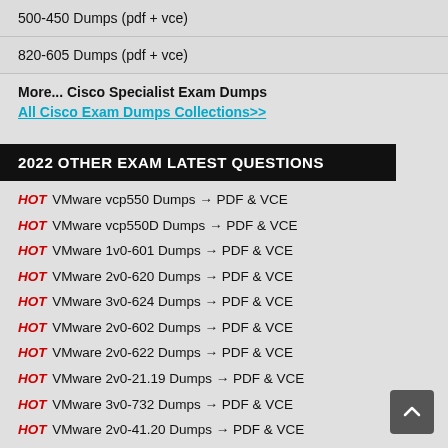500-450 Dumps (pdf + vce)
820-605 Dumps (pdf + vce)
More... Cisco Specialist Exam Dumps
All Cisco Exam Dumps Collections>>
2022 OTHER EXAM LATEST QUESTIONS
HOT VMware vcp550 Dumps → PDF & VCE
HOT VMware vcp550D Dumps → PDF & VCE
HOT VMware 1v0-601 Dumps → PDF & VCE
HOT VMware 2v0-620 Dumps → PDF & VCE
HOT VMware 3v0-624 Dumps → PDF & VCE
HOT VMware 2v0-602 Dumps → PDF & VCE
HOT VMware 2v0-622 Dumps → PDF & VCE
HOT VMware 2v0-21.19 Dumps → PDF & VCE
HOT VMware 3v0-732 Dumps → PDF & VCE
HOT VMware 2v0-41.20 Dumps → PDF & VCE
HOT VMware 1v0-21.20 Dumps → PDF & VCE
HOT VMware 1v0-71.21 Dumps → PDF & VCE
HOT VMware 2v0-21.20 Dumps → PDF & VCE